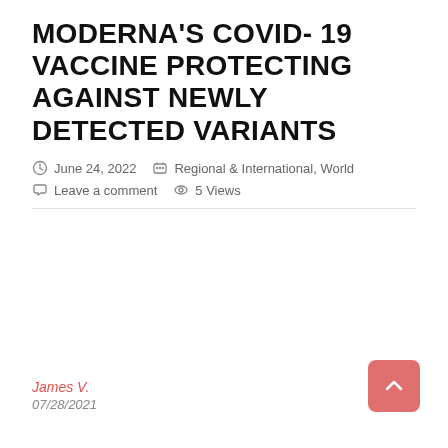MODERNA'S COVID-19 VACCINE PROTECTING AGAINST NEWLY DETECTED VARIANTS
June 24, 2022   Regional & International, World   Leave a comment   5 Views
James V.
07/28/2021